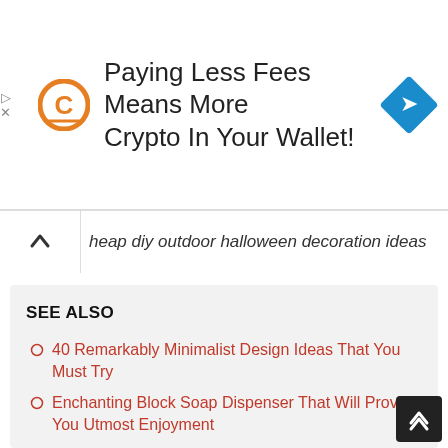[Figure (infographic): Advertisement banner: orange C logo on left, bold text 'Paying Less Fees Means More Crypto In Your Wallet!', blue diamond navigation icon on right]
heap diy outdoor halloween decoration ideas
SEE ALSO
40 Remarkably Minimalist Design Ideas That You Must Try
Enchanting Block Soap Dispenser That Will Provide You Utmost Enjoyment
Upscale Dining Room Wallpaper Ideas That Will Make Your Life Easier Fun
31+ Most Popular The Residences Ritz Carlton Montreal That Will Fascinate You
42 Dreamy Modern Family House Israel That Will